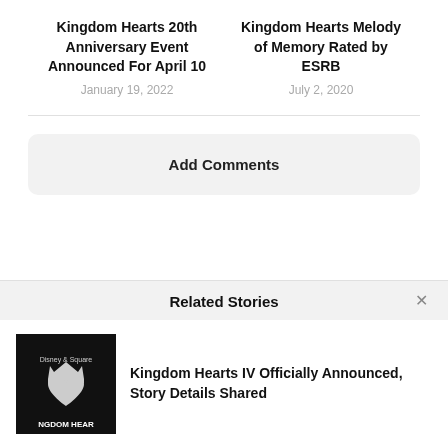Kingdom Hearts 20th Anniversary Event Announced For April 10
January 19, 2022
Kingdom Hearts Melody of Memory Rated by ESRB
July 2, 2020
Add Comments
Related Stories
Kingdom Hearts IV Officially Announced, Story Details Shared